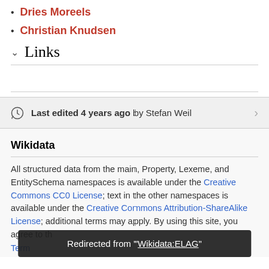Dries Moreels
Christian Knudsen
Links
Last edited 4 years ago by Stefan Weil
Wikidata
All structured data from the main, Property, Lexeme, and EntitySchema namespaces is available under the Creative Commons CC0 License; text in the other namespaces is available under the Creative Commons Attribution-ShareAlike License; additional terms may apply. By using this site, you agree to the
Terms
Redirected from "Wikidata:ELAG"